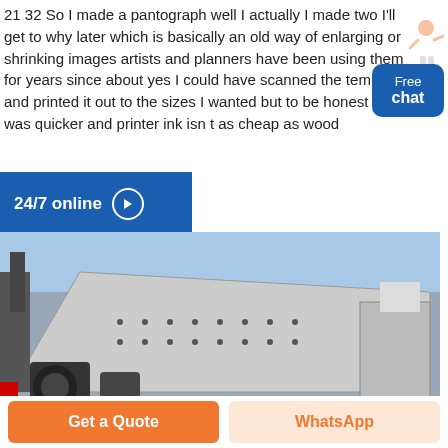21 32 So I made a pantograph well I actually I made two I'll get to why later which is basically an old way of enlarging or shrinking images artists and planners have been using them for years since about yes I could have scanned the template and printed it out to the sizes I wanted but to be honest this was quicker and printer ink isn t as cheap as wood
[Figure (infographic): Blue button with text '24/7 online' and right arrow circle icon]
[Figure (photo): Industrial vibrating screen machine photographed outdoors against a blue sky]
[Figure (infographic): Blue rounded rectangle widget with text 'Free chat' and small female customer service representative illustration above]
[Figure (infographic): Orange 'Get a Quote' button and light orange 'WhatsApp' button at bottom of page]